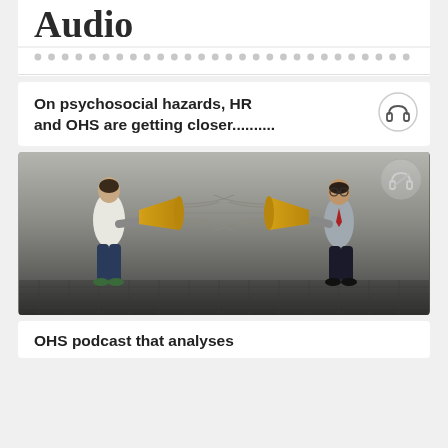Audio
On psychosocial hazards, HR and OHS are getting closer..........
[Figure (photo): Two men facing each other, each holding a megaphone/bullhorn pointing toward the other person, standing against a concrete wall background on a cobblestone floor.]
OHS podcast that analyses